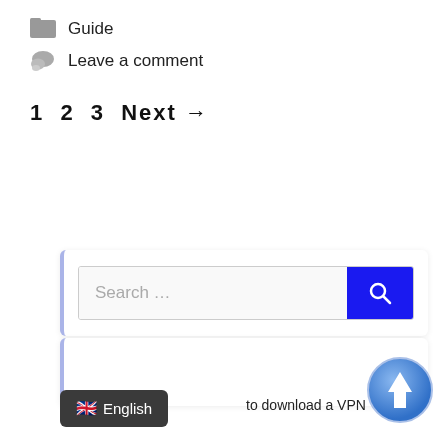Guide
Leave a comment
1  2  3  Next →
[Figure (screenshot): Search widget with text input field and blue search button with magnifying glass icon]
Recent Posts
[Figure (screenshot): Language selector showing UK flag and English label, with text 'to download a VPN']
[Figure (illustration): Blue circular upload/scroll-to-top button with white upward arrow]